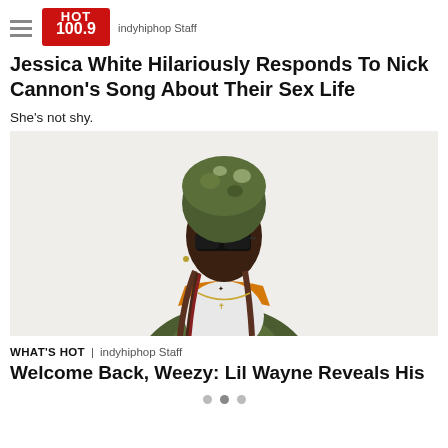HOT 100.9 | indyhiphop Staff
Jessica White Hilariously Responds To Nick Cannon's Song About Their Sex Life
She's not shy.
[Figure (photo): Person wearing a camouflage beanie hat and sunglasses with dreadlocks, dressed in a camouflage jacket with orange accents, against a white background]
WHAT'S HOT | indyhiphop Staff
Welcome Back, Weezy: Lil Wayne Reveals His